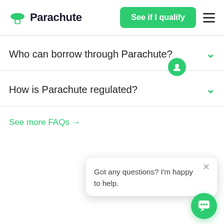[Figure (logo): Parachute logo with green parachute icon and text 'Parachute']
See if I qualify
Who can borrow through Parachute?
How is Parachute regulated?
See more FAQs →
Got any questions? I'm happy to help.